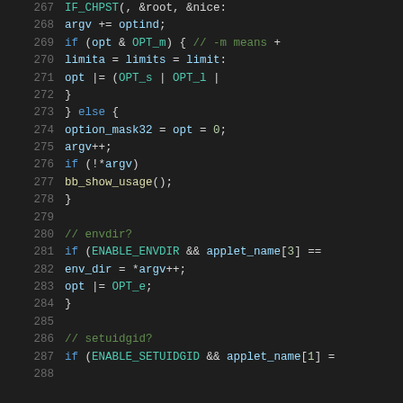[Figure (screenshot): Source code viewer showing C code lines 267-287, dark theme editor with syntax highlighting. Line numbers in gray on left, keywords in blue, comments in green, identifiers in light blue, numbers/constants in teal/gold.]